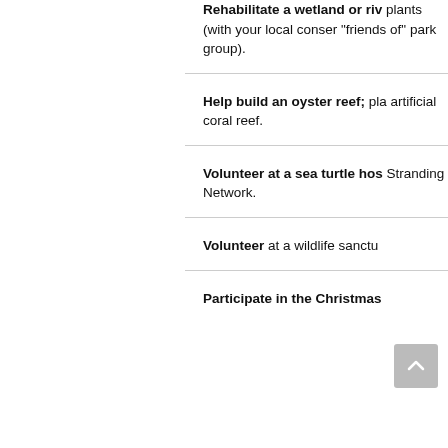Rehabilitate a wetland or river bank: plants (with your local conservation or "friends of" park group).
Help build an oyster reef; plant an artificial coral reef.
Volunteer at a sea turtle hospital; Stranding Network.
Volunteer at a wildlife sanctuary.
Participate in the Christmas Bird Count or other seasonal surveys.